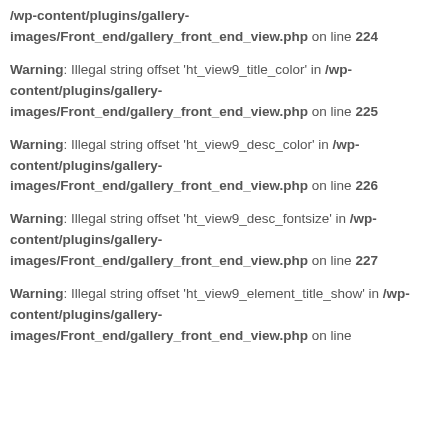/wp-content/plugins/gallery-images/Front_end/gallery_front_end_view.php on line 224
Warning: Illegal string offset 'ht_view9_title_color' in /wp-content/plugins/gallery-images/Front_end/gallery_front_end_view.php on line 225
Warning: Illegal string offset 'ht_view9_desc_color' in /wp-content/plugins/gallery-images/Front_end/gallery_front_end_view.php on line 226
Warning: Illegal string offset 'ht_view9_desc_fontsize' in /wp-content/plugins/gallery-images/Front_end/gallery_front_end_view.php on line 227
Warning: Illegal string offset 'ht_view9_element_title_show' in /wp-content/plugins/gallery-images/Front_end/gallery_front_end_view.php on line